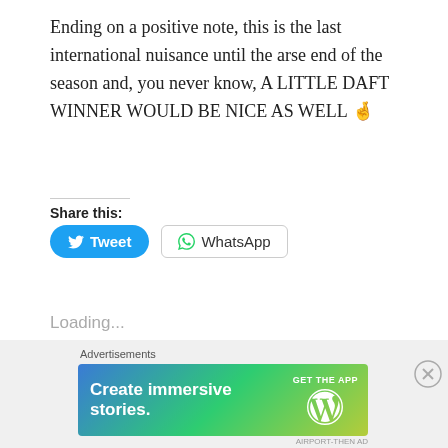Ending on a positive note, this is the last international nuisance until the arse end of the season and, you never know, A LITTLE DAFT WINNER WOULD BE NICE AS WELL 🤞
Share this:
Loading...
[Figure (other): Advertisement banner: Create immersive stories. GET THE APP with WordPress logo]